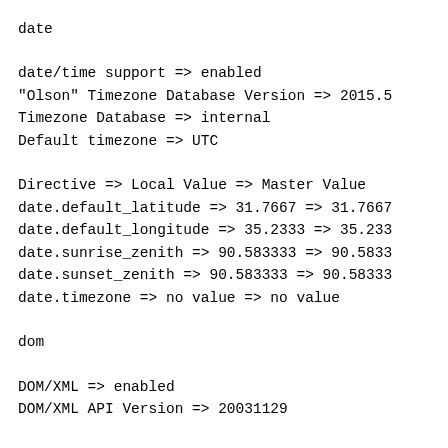date
date/time support => enabled
"Olson" Timezone Database Version => 2015.5
Timezone Database => internal
Default timezone => UTC
Directive => Local Value => Master Value
date.default_latitude => 31.7667 => 31.7667
date.default_longitude => 35.2333 => 35.233
date.sunrise_zenith => 90.583333 => 90.5833
date.sunset_zenith => 90.583333 => 90.58333
date.timezone => no value => no value
dom
DOM/XML => enabled
DOM/XML API Version => 20031129